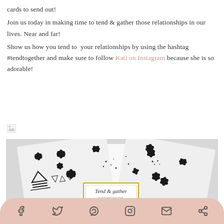cards to send out! Join us today in making time to tend & gather those relationships in our lives. Near and far! Show us how you tend to your relationships by using the hashtag #tendtogether and make sure to follow Kati on Instagram because she is so adorable!
[Figure (photo): Black and white patterned greeting cards with floral/geometric designs, featuring a 'Tend & Gather katimercom' label with a gold border in the center]
[Figure (infographic): Social media sharing bar with icons for Facebook, Twitter, Pinterest, Instagram, Email, and Share on a pink/salmon rounded background]